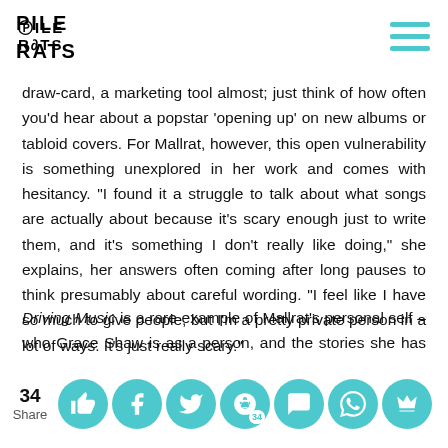PILE RATS
draw-card, a marketing tool almost; just think of how often you'd hear about a popstar 'opening up' on new albums or tabloid covers. For Mallrat, however, this open vulnerability is something unexplored in her work and comes with hesitancy. "I found it a struggle to talk about what songs are actually about because it's scary enough just to write them, and it's something I don't really like doing," she explains, her answers often coming after long pauses to think presumably about careful wording. "I feel like I have so much to give people, but I'm a pretty private person in a lot of ways. It's just really scary."
Driving Music is a rare example of Mallrat's personal self – who Grace Shaw is as a person, and the stories she has to tell opening up, the aforementioned 'charlie'...
34 Share